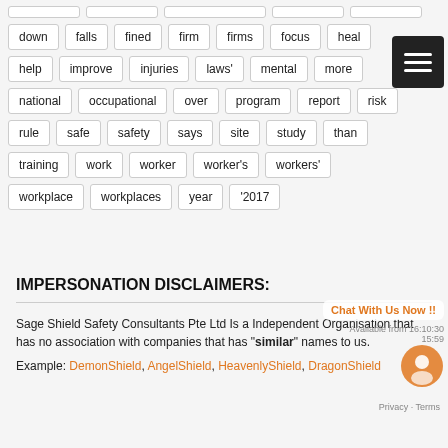down
falls
fined
firm
firms
focus
health
help
improve
injuries
laws'
mental
more
national
occupational
over
program
report
risk
rule
safe
safety
says
site
study
than
training
work
worker
worker&#039;s
workers'
workplace
workplaces
year
‘2017
IMPERSONATION DISCLAIMERS:
Sage Shield Safety Consultants Pte Ltd Is a Independent Organisation that has no association with companies that has "similar" names to us.
Example: DemonShield, AngelShield, HeavenlyShield, DragonShield